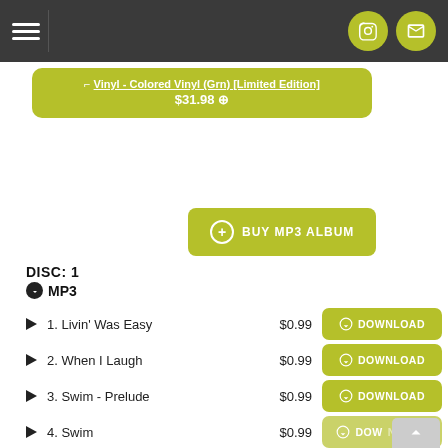Navigation bar with hamburger menu, Instagram icon, and mail icon
Vinyl - Colored Vinyl (Grn) [Limited Edition] $31.98
BUY MP3 ALBUM
DISC: 1
MP3
1. Livin' Was Easy  $0.99  DOWNLOAD
2. When I Laugh  $0.99  DOWNLOAD
3. Swim - Prelude  $0.99  DOWNLOAD
4. Swim  $0.99  DOWNLOAD
5. Mayflower  $0.99  DOWNLOAD